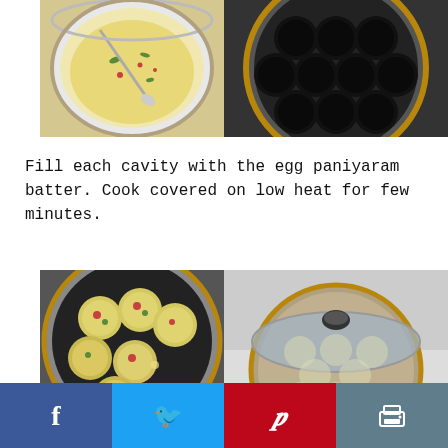[Figure (photo): Two side-by-side photos: left shows a bowl of egg paniyaram batter with a spoon, right shows an empty non-stick appe/paniyaram pan with round cavities on a stove.]
Fill each cavity with the egg paniyaram batter. Cook covered on low heat for few minutes.
[Figure (photo): Two side-by-side photos: left shows a paniyaram pan filled with cooking egg paniyarams (round patties), right shows the pan covered with a glass lid with condensation, cooking on low heat.]
Social share buttons: Facebook, Twitter, Pinterest, Print